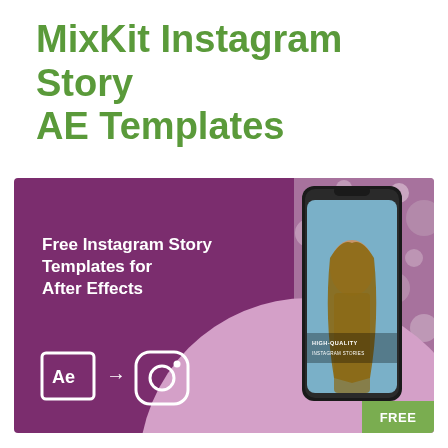MixKit Instagram Story AE Templates
[Figure (illustration): Promotional banner for free Instagram Story After Effects templates. Purple background with pink circle arc, phone mockup showing a woman with long hair, After Effects and Instagram icons with arrow, and a green FREE badge in bottom right corner. Text reads: Free Instagram Story Templates for After Effects.]